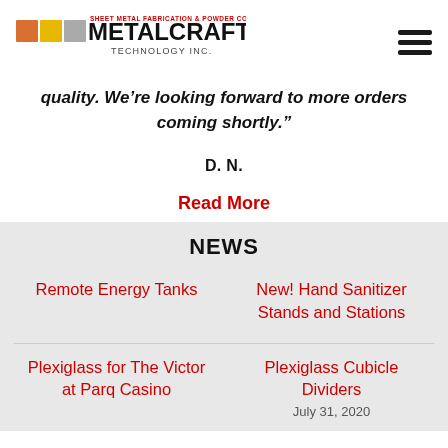METALCRAFT TECHNOLOGY INC. — Sheet Metal Fabrication & Powder Coating
quality. We’re looking forward to more orders coming shortly.”
D. N.
Read More
NEWS
Remote Energy Tanks
New! Hand Sanitizer Stands and Stations
Plexiglass for The Victor at Parq Casino
Plexiglass Cubicle Dividers
July 31, 2020